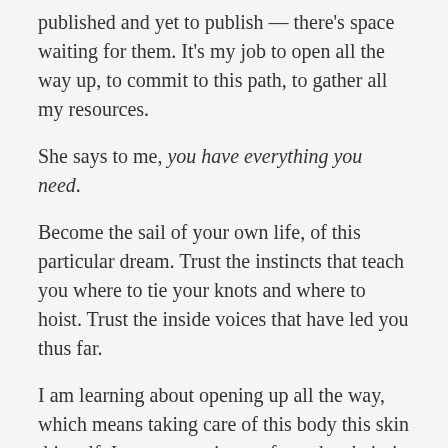published and yet to publish — there's space waiting for them. It's my job to open all the way up, to commit to this path, to gather all my resources.
She says to me, you have everything you need.
Become the sail of your own life, of this particular dream. Trust the instincts that teach you where to tie your knots and where to hoist. Trust the inside voices that have led you thus far.
I am learning about opening up all the way, which means taking care of this body this skin this self. It means getting up from the chair, it means taking bite-sized pieces of work, it means doing one piece every day — no more marathons. Daily marathons are not sustainable — the truth is that the work can't be done in a binge. Open up. Open into the anxiety and the panic and the fear — I could just send one more email,